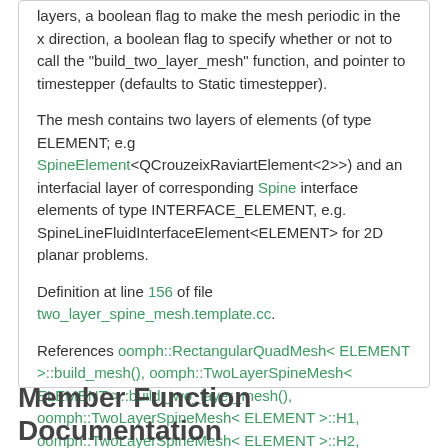layers, a boolean flag to make the mesh periodic in the x direction, a boolean flag to specify whether or not to call the "build_two_layer_mesh" function, and pointer to timestepper (defaults to Static timestepper).
The mesh contains two layers of elements (of type ELEMENT; e.g SpineElement<QCrouzeixRaviartElement<2>) and an interfacial layer of corresponding Spine interface elements of type INTERFACE_ELEMENT, e.g. SpineLineFluidInterfaceElement<ELEMENT> for 2D planar problems.
Definition at line 156 of file two_layer_spine_mesh.template.cc.
References oomph::RectangularQuadMesh< ELEMENT >::build_mesh(), oomph::TwoLayerSpineMesh< ELEMENT >::build_two_layer_mesh(), oomph::TwoLayerSpineMesh< ELEMENT >::H1, oomph::TwoLayerSpineMesh< ELEMENT >::H2, oomph::TwoLayerSpineMesh< ELEMENT >::Ny1, and oomph::TwoLayerSpineMesh< ELEMENT >::Ny2.
Member Function Documentation